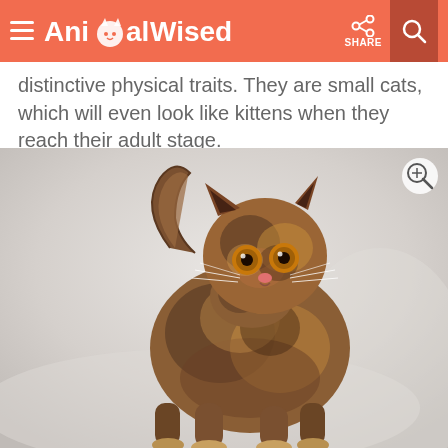AnimalWised
distinctive physical traits. They are small cats, which will even look like kittens when they reach their adult stage.
[Figure (photo): A small tortoiseshell kitten standing and looking up toward the camera, photographed against a white fabric background. The kitten has distinctive brown, black and orange mottled fur with large amber eyes and small pointed ears.]